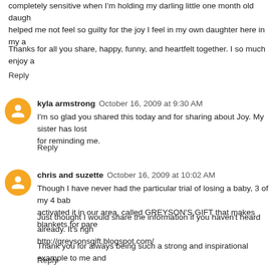completely sensitive when I'm holding my darling little one month old daugh... helped me not feel so guilty for the joy I feel in my own daughter here in my a...
Thanks for all you share, happy, funny, and heartfelt together. I so much enjoy a...
Reply
kyla armstrong  October 16, 2009 at 9:30 AM
I'm so glad you shared this today and for sharing about Joy. My sister has lost... for reminding me.
Reply
chris and suzette  October 16, 2009 at 10:02 AM
Though I have never had the particular trial of losing a baby, 3 of my 4 bab... activated it in our area, called GREYSON'S GIFT that makes blankets for pare...
Just thought I would share the information if you haven't heard already. It's righ... http://greysonsgift.blogspot.com/
Thank you for always being such a strong and inspirational example to me and...
Reply